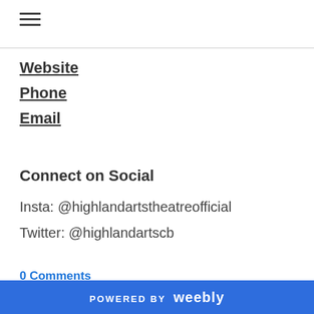≡
Website
Phone
Email
Connect on Social
Insta: @highlandartstheatreofficial
Twitter: @highlandartscb
0 Comments
POWERED BY weebly